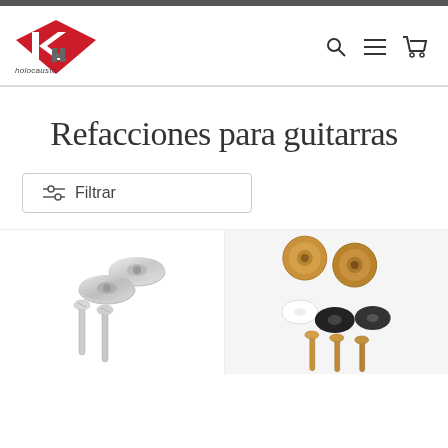[Figure (logo): Holocausto brand logo: red diamond shape with white K letter and grey H letter, with text 'holocausto' below in italic]
[Figure (other): Navigation icons: search magnifier, hamburger menu, and shopping cart icons]
Refacciones para guitarras
[Figure (other): Filter button with sliders icon and text 'Filtrar']
[Figure (photo): Silver/nickel guitar strap buttons with screws on white background]
[Figure (photo): Gold guitar strap buttons with white and black washers and gold screws on white background]